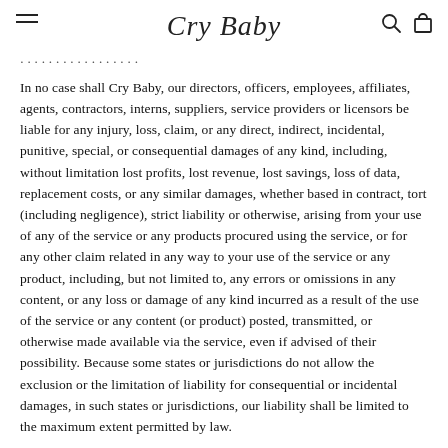Cry Baby
In no case shall Cry Baby, our directors, officers, employees, affiliates, agents, contractors, interns, suppliers, service providers or licensors be liable for any injury, loss, claim, or any direct, indirect, incidental, punitive, special, or consequential damages of any kind, including, without limitation lost profits, lost revenue, lost savings, loss of data, replacement costs, or any similar damages, whether based in contract, tort (including negligence), strict liability or otherwise, arising from your use of any of the service or any products procured using the service, or for any other claim related in any way to your use of the service or any product, including, but not limited to, any errors or omissions in any content, or any loss or damage of any kind incurred as a result of the use of the service or any content (or product) posted, transmitted, or otherwise made available via the service, even if advised of their possibility. Because some states or jurisdictions do not allow the exclusion or the limitation of liability for consequential or incidental damages, in such states or jurisdictions, our liability shall be limited to the maximum extent permitted by law.